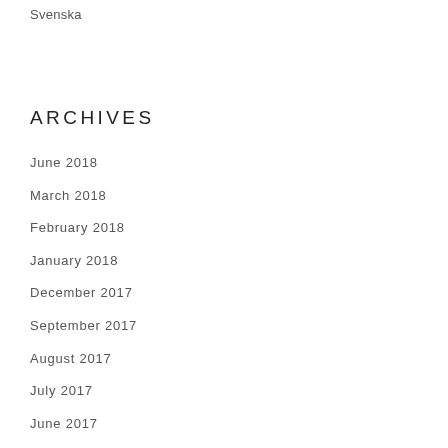Svenska
ARCHIVES
June 2018
March 2018
February 2018
January 2018
December 2017
September 2017
August 2017
July 2017
June 2017
May 2017
April 2017